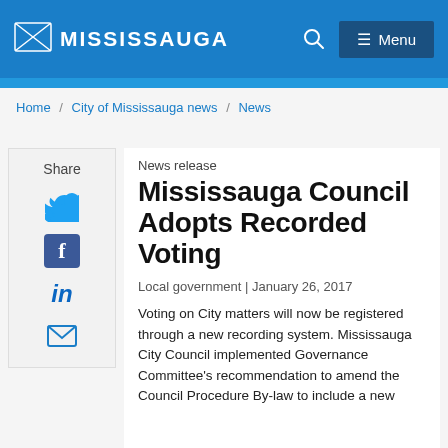MISSISSAUGA
Home / City of Mississauga news / News
Share
News release
Mississauga Council Adopts Recorded Voting
Local government | January 26, 2017
Voting on City matters will now be registered through a new recording system. Mississauga City Council implemented Governance Committee's recommendation to amend the Council Procedure By-law to include a new electronic recorded voting system.